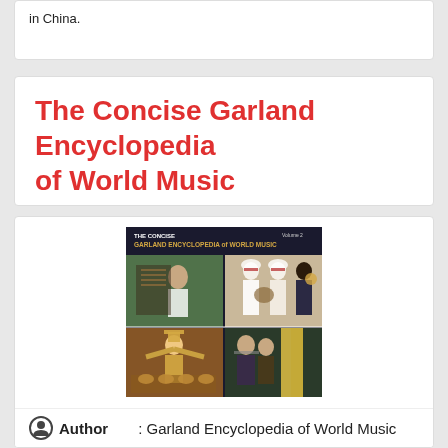in China.
The Concise Garland Encyclopedia of World Music
[Figure (photo): Book cover of The Concise Garland Encyclopedia of World Music, Volume 2, showing multiple photographs of world musicians and performers including Asian, Middle Eastern, African, and Southeast Asian musical traditions.]
Author : Garland Encyclopedia of World Music